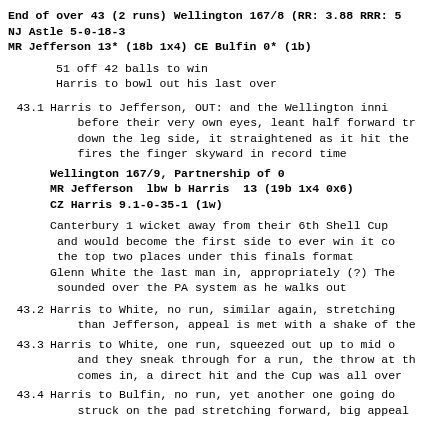End of over 43 (2 runs) Wellington 167/8 (RR: 3.88 RRR: 5
NJ Astle 5-0-18-3
MR Jefferson 13* (18b 1x4) CE Bulfin 0* (1b)
51 off 42 balls to win
Harris to bowl out his last over
43.1 Harris to Jefferson, OUT: and the Wellington inni before their very own eyes, leant half forward tr down the leg side, it straightened as it hit the fires the finger skyward in record time
Wellington 167/9, Partnership of 0
MR Jefferson  lbw b Harris  13 (19b 1x4 0x6)
CZ Harris 9.1-0-35-1 (1w)
Canterbury 1 wicket away from their 6th Shell Cup and would become the first side to ever win it co the top two places under this finals format
Glenn White the last man in, appropriately (?) The sounded over the PA system as he walks out
43.2 Harris to White, no run, similar again, stretching than Jefferson, appeal is met with a shake of the
43.3 Harris to White, one run, squeezed out up to mid o and they sneak through for a run, the throw at th comes in, a direct hit and the Cup was all over
43.4 Harris to Bulfin, no run, yet another one going do struck on the pad stretching forward, big appeal